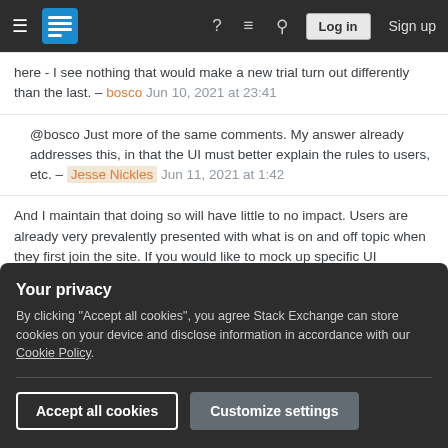Navigation bar with hamburger menu, logo, help, chat, search icons, Log in button, Sign up link
here - I see nothing that would make a new trial turn out differently than the last. – bosco Jun 10, 2021 at 23:41
@bosco Just more of the same comments. My answer already addresses this, in that the UI must better explain the rules to users, etc. – Jesse Nickles Jun 11, 2021 at 1:42
And I maintain that doing so will have little to no impact. Users are already very prevalently presented with what is on and off topic when they first join the site. If you would like to mock up specific UI improvements for consideration I might come to see
Your privacy
By clicking "Accept all cookies", you agree Stack Exchange can store cookies on your device and disclose information in accordance with our Cookie Policy.
Accept all cookies   Customize settings